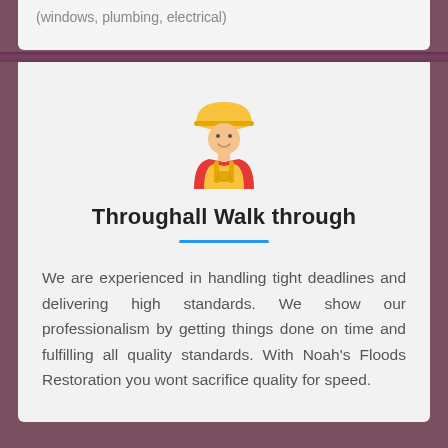(windows, plumbing, electrical)
[Figure (illustration): Construction worker icon with yellow hard hat and red/yellow outfit]
Throughall Walk through
We are experienced in handling tight deadlines and delivering high standards. We show our professionalism by getting things done on time and fulfilling all quality standards. With Noah's Floods Restoration you wont sacrifice quality for speed.